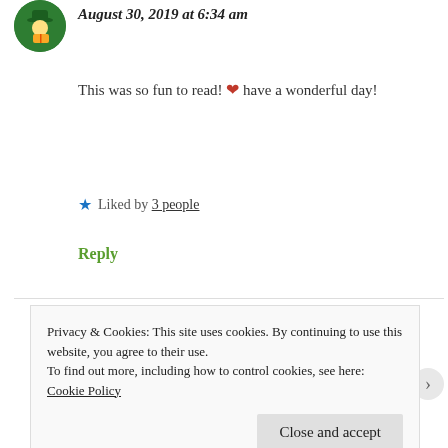[Figure (illustration): Circular avatar of an illustrated character with a dark green background, showing a figure with a book or similar object.]
August 30, 2019 at 6:34 am
This was so fun to read! ❤ have a wonderful day!
★ Liked by 3 people
Reply
Chocoviv says:
August 30, 2019 at 8:22 am
Privacy & Cookies: This site uses cookies. By continuing to use this website, you agree to their use.
To find out more, including how to control cookies, see here: Cookie Policy
Close and accept